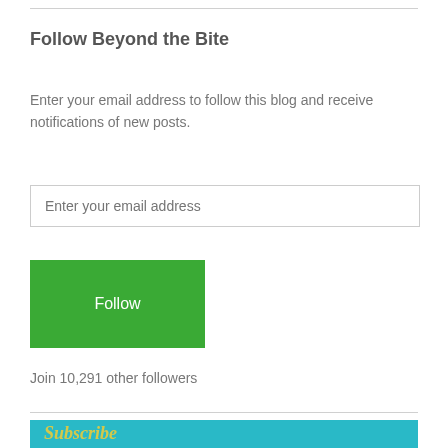Follow Beyond the Bite
Enter your email address to follow this blog and receive notifications of new posts.
Enter your email address
Follow
Join 10,291 other followers
[Figure (other): Teal/cyan banner with italic yellow text reading 'Subscribe' and a partial image of a person]